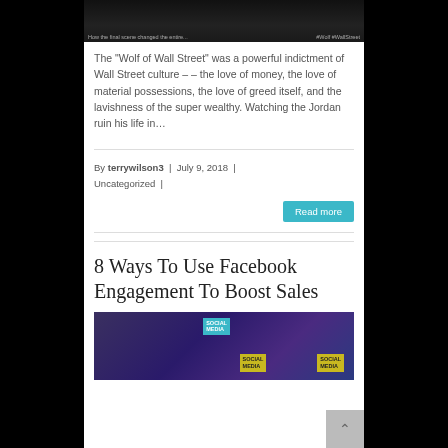[Figure (photo): Dark screenshot of Wolf of Wall Street movie scene with caption text at bottom]
The “Wolf of Wall Street” was a powerful indictment of Wall Street culture––the love of money, the love of material possessions, the love of greed itself, and the lavishness of the super wealthy. Watching the Jordan ruin his life in…
By terrywilson3 | July 9, 2018 | Uncategorized |
Read more
8 Ways To Use Facebook Engagement To Boost Sales
[Figure (photo): Social media themed collage image with SOCIAL MEDIA text labels]